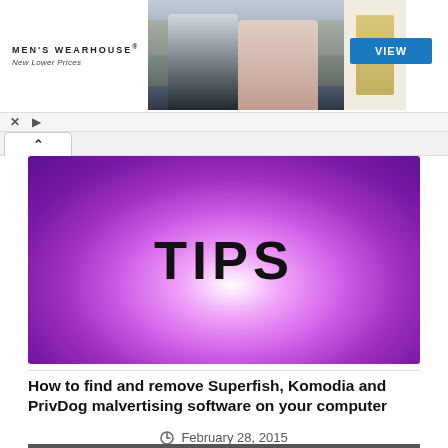[Figure (photo): Men's Wearhouse advertisement banner with couple in formal wear and man in tan suit, VIEW button]
[Figure (illustration): Purple-to-white gradient background with bold text TIPS in the center]
How to find and remove Superfish, Komodia and PrivDog malvertising software on your computer
February 28, 2015
[Figure (screenshot): Partial screenshot of a computer screen at the bottom of the page]